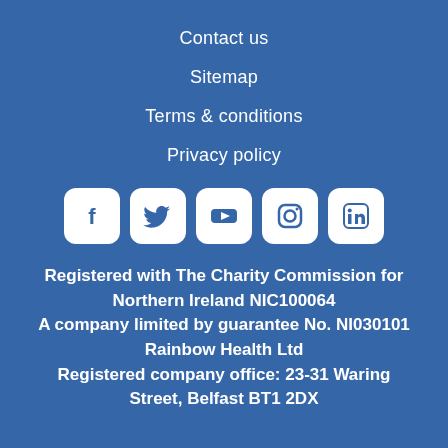Contact us
Sitemap
Terms & conditions
Privacy policy
[Figure (illustration): Row of 5 social media icons (Facebook, Twitter, YouTube, Instagram, LinkedIn) as white rounded-square buttons on blue background]
Registered with The Charity Commission for Northern Ireland NIC100064 A company limited by guarantee No. NI030101 Rainbow Health Ltd Registered company office: 23-31 Waring Street, Belfast BT1 2DX